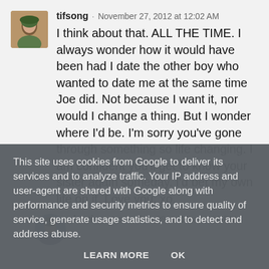[Figure (photo): Avatar image of user tifsong, a small square photo showing a person]
tifsong · November 27, 2012 at 12:02 AM
I think about that. ALL THE TIME. I always wonder how it would have been had I date the other boy who wanted to date me at the same time Joe did. Not because I want it, nor would I change a thing. But I wonder where I'd be. I'm sorry you've gone through something so life changing. I am confident you'll get to know your sister again someday. I'd bet my own life on it. Love you. xo.
[Figure (photo): Avatar image of user Louise, a circular photo]
Louise · November 28, 2012 at 4:01 PM
This site uses cookies from Google to deliver its services and to analyze traffic. Your IP address and user-agent are shared with Google along with performance and security metrics to ensure quality of service, generate usage statistics, and to detect and address abuse.
LEARN MORE   OK